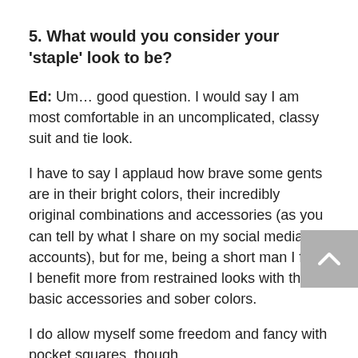5. What would you consider your 'staple' look to be?
Ed: Um… good question. I would say I am most comfortable in an uncomplicated, classy suit and tie look.
I have to say I applaud how brave some gents are in their bright colors, their incredibly original combinations and accessories (as you can tell by what I share on my social media accounts), but for me, being a short man I feel I benefit more from restrained looks with the basic accessories and sober colors.
I do allow myself some freedom and fancy with pocket squares, though